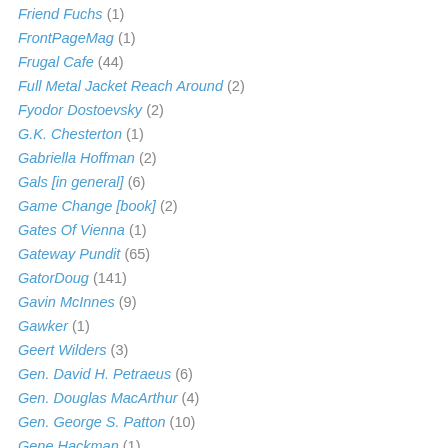Friend Fuchs (1)
FrontPageMag (1)
Frugal Cafe (44)
Full Metal Jacket Reach Around (2)
Fyodor Dostoevsky (2)
G.K. Chesterton (1)
Gabriella Hoffman (2)
Gals [in general] (6)
Game Change [book] (2)
Gates Of Vienna (1)
Gateway Pundit (65)
GatorDoug (141)
Gavin McInnes (9)
Gawker (1)
Geert Wilders (3)
Gen. David H. Petraeus (6)
Gen. Douglas MacArthur (4)
Gen. George S. Patton (10)
Gene Hackman (1)
Generations (4)